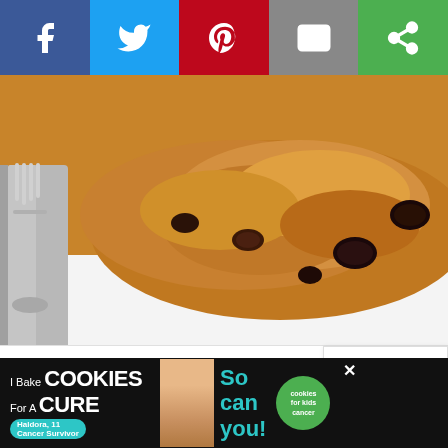[Figure (other): Social share bar with Facebook (blue), Twitter (light blue), Pinterest (red), Email (gray), and a green share button, each with white icons]
[Figure (photo): Close-up photo of a baked bread pudding or similar dessert with raisins on a white plate, with a silver fork visible on the left side]
[Figure (other): White content area with three carousel dot indicators and a scroll-to-top popup in the lower right showing 'roll to on' text and a menu icon]
[Figure (other): Bottom advertisement banner on black background: 'I Bake COOKIES For A CURE' with Holdora cancer survivor and 'So can you!' text with cookies for kids cancer logo and close button]